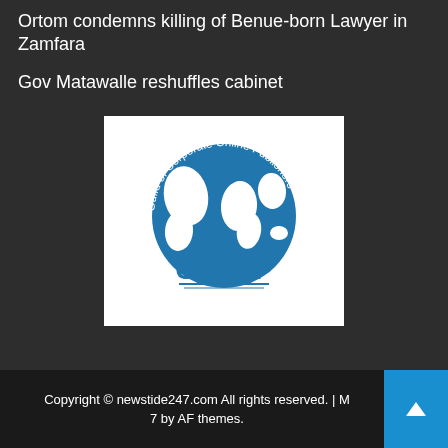Ortom condemns killing of Benue-born Lawyer in Zamfara
Gov Matawalle reshuffles cabinet
[Figure (logo): Guild of Corporate Online Publishers (GOCOP) logo — blue globe with text around it reading 'Guild of Corporate Online Publishers' and 'GOCOP' below]
Copyright © newstide247.com All rights reserved. | M 7 by AF themes.